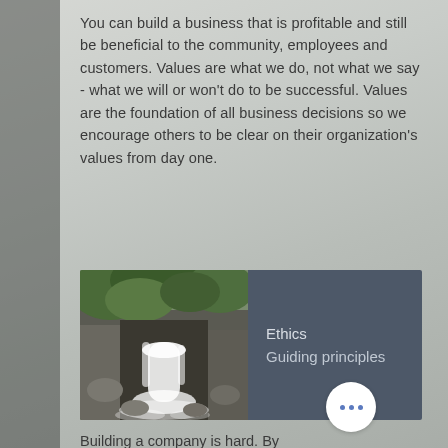You can build a business that is profitable and still be beneficial to the community, employees and customers. Values are what we do, not what we say - what we will or won't do to be successful. Values are the foundation of all business decisions so we encourage others to be clear on their organization's values from day one.
[Figure (illustration): A composite card graphic: left half shows a waterfall photo with lush green foliage and cascading white water over dark rocks; right half is a dark slate-blue panel with white text reading 'Ethics' and 'Guiding principles'. A white circle with three blue dots appears at the bottom right corner of the card.]
Building a company is hard. By